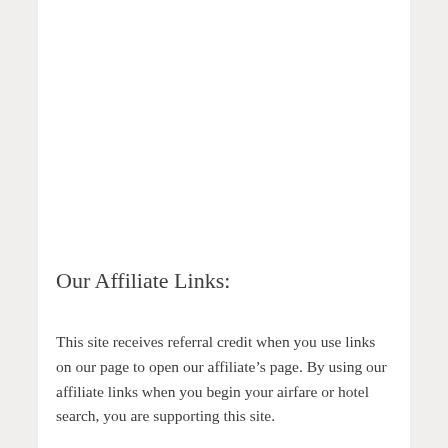Our Affiliate Links:
This site receives referral credit when you use links on our page to open our affiliate’s page. By using our affiliate links when you begin your airfare or hotel search, you are supporting this site.